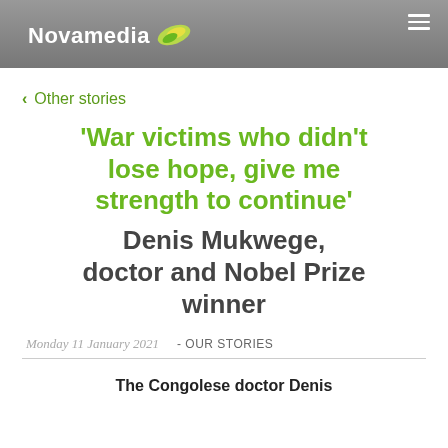Novamedia
< Other stories
'War victims who didn't lose hope, give me strength to continue'
Denis Mukwege, doctor and Nobel Prize winner
Monday 11 January 2021  - OUR STORIES
The Congolese doctor Denis